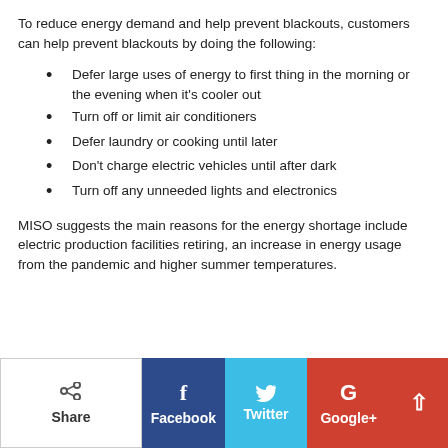To reduce energy demand and help prevent blackouts, customers can help prevent blackouts by doing the following:
Defer large uses of energy to first thing in the morning or the evening when it's cooler out
Turn off or limit air conditioners
Defer laundry or cooking until later
Don't charge electric vehicles until after dark
Turn off any unneeded lights and electronics
MISO suggests the main reasons for the energy shortage include electric production facilities retiring, an increase in energy usage from the pandemic and higher summer temperatures.